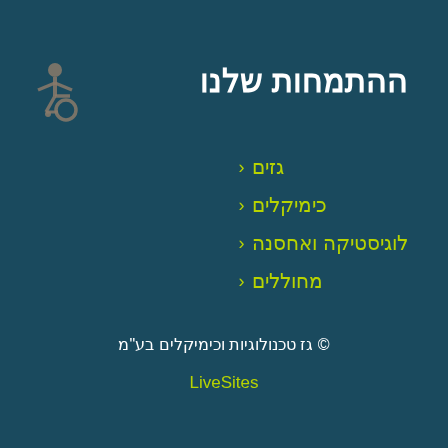[Figure (illustration): Wheelchair accessibility icon in muted brownish-gray color, top-left area]
ההתמחות שלנו
‹ גזים
‹ כימיקלים
‹ לוגיסטיקה ואחסנה
‹ מחוללים
© גז טכנולוגיות וכימיקלים בע"מ
LiveSites